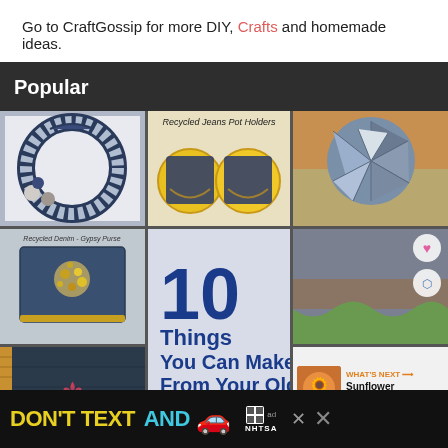Go to CraftGossip for more DIY, Crafts and homemade ideas.
Popular
[Figure (photo): Collage of DIY denim/jeans craft projects including a denim wreath, recycled jeans pot holders, denim ball, recycled denim gypsy purse, denim book cover, and a text overlay reading '10 Things You Can Make From Your Old Denim Jeans']
[Figure (infographic): Ad banner at bottom reading 'DON'T TEXT AND' with a car emoji, ad logo, and NHTSA branding]